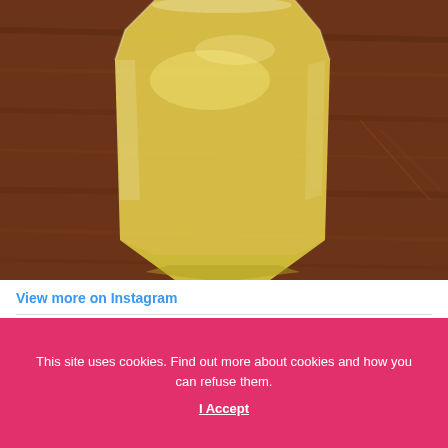[Figure (photo): Close-up photo of a glass filled with pale yellow liquid (cocktail or juice) sitting on a dark wooden surface. The glass has a hexagonal faceted base.]
View more on Instagram
12 likes
gaslampmeze
It's Friday! And you know what that means... cocktails! Tonight
This site uses cookies. Find out more about cookies and how you can refuse them.
I Accept